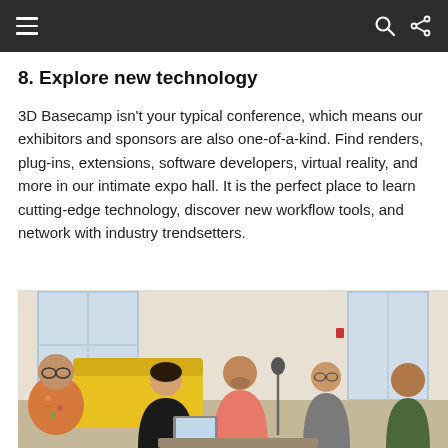Navigation bar with menu, search, and share icons
8. Explore new technology
3D Basecamp isn't your typical conference, which means our exhibitors and sponsors are also one-of-a-kind. Find renders, plug-ins, extensions, software developers, virtual reality, and more in our intimate expo hall. It is the perfect place to learn cutting-edge technology, discover new workflow tools, and network with industry trendsetters.
[Figure (photo): Group of people seated together in a bright room with large windows, appearing to be in discussion or networking at a conference setting. Multiple people visible including someone in a floral shirt on the left, a woman in black, a man in a pink shirt, and others on the right side.]